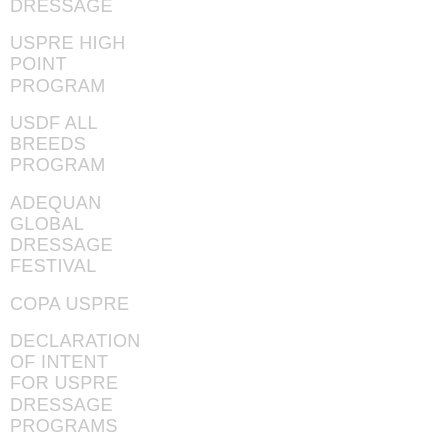DRESSAGE
USPRE HIGH POINT PROGRAM
USDF ALL BREEDS PROGRAM
ADEQUAN GLOBAL DRESSAGE FESTIVAL
COPA USPRE
DECLARATION OF INTENT FOR USPRE DRESSAGE PROGRAMS